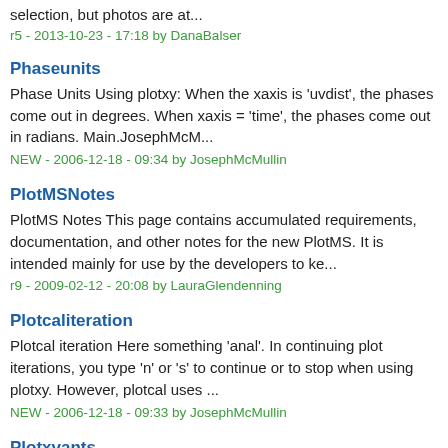selection, but photos are at...
r5 - 2013-10-23 - 17:18 by DanaBalser
Phaseunits
Phase Units Using plotxy: When the xaxis is 'uvdist', the phases come out in degrees. When xaxis = 'time', the phases come out in radians. Main.JosephMcM...
NEW - 2006-12-18 - 09:34 by JosephMcMullin
PlotMSNotes
PlotMS Notes This page contains accumulated requirements, documentation, and other notes for the new PlotMS. It is intended mainly for use by the developers to ke...
r9 - 2009-02-12 - 20:08 by LauraGlendenning
Plotcaliteration
Plotcal iteration Here something 'anal'. In continuing plot iterations, you type 'n' or 's' to continue or to stop when using plotxy. However, plotcal uses ...
NEW - 2006-12-18 - 09:33 by JosephMcMullin
Plotxvants